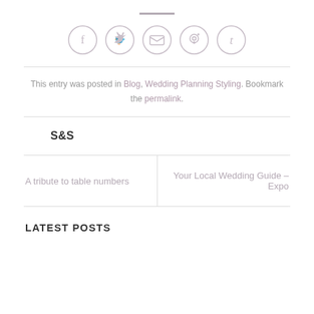[Figure (other): Social sharing icons in circles: Facebook (f), Twitter (bird), Email (envelope), Pinterest (P), Tumblr (t)]
This entry was posted in Blog, Wedding Planning Styling. Bookmark the permalink.
S&S
A tribute to table numbers
Your Local Wedding Guide – Expo
LATEST POSTS